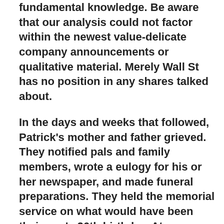fundamental knowledge. Be aware that our analysis could not factor within the newest value-delicate company announcements or qualitative material. Merely Wall St has no position in any shares talked about.
In the days and weeks that followed, Patrick's mother and father grieved. They notified pals and family members, wrote a eulogy for his or her newspaper, and made funeral preparations. They held the memorial service on what would have been their son's 26th birthday. At Restoration Works, Patrick's former remedy facility, his title and picture were added to a memory wall in a standard room â€" one other deadly overdose in a system full of them. Workers turnover in the therapy trade meant that quickly enough hardly anybody there would remember Patrick in any respect.